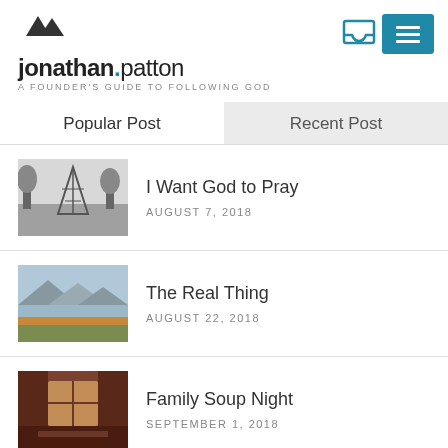[Figure (logo): Mountain peak logo icon (two triangular peaks, dark grey)]
[Figure (illustration): Inbox icon and teal hamburger menu icon in top right]
jonathan.patton
A FOUNDER'S GUIDE TO FOLLOWING GOD
Popular Post
Recent Post
[Figure (photo): Black and white photo of a triangular metal tower structure with trees]
I Want God to Pray
AUGUST 7, 2018
[Figure (photo): Landscape photo of mountains and water with green and orange fields]
The Real Thing
AUGUST 22, 2018
[Figure (photo): Interior photo of a room with a window and warm lighting, red tones]
Family Soup Night
SEPTEMBER 1, 2018